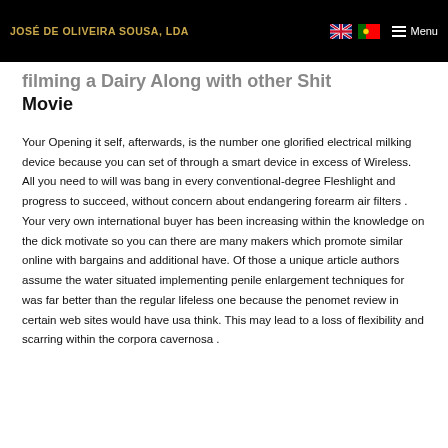JOSÉ DE OLIVEIRA SOUSA, LDA
filming a Dairy Along with other Shit Movie
Your Opening it self, afterwards, is the number one glorified electrical milking device because you can set of through a smart device in excess of Wireless. All you need to will was bang in every conventional-degree Fleshlight and progress to succeed, without concern about endangering forearm air filters . Your very own international buyer has been increasing within the knowledge on the dick motivate so you can there are many makers which promote similar online with bargains and additional have. Of those a unique article authors assume the water situated implementing penile enlargement techniques for was far better than the regular lifeless one because the penomet review in certain web sites would have usa think. This may lead to a loss of flexibility and scarring within the corpora cavernosa .